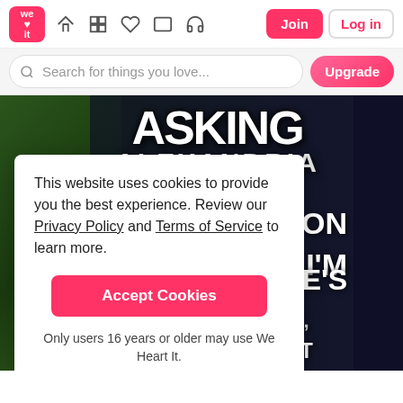[Figure (screenshot): We Heart It website navigation bar with logo, icons, Join and Log in buttons]
[Figure (screenshot): Search bar with 'Search for things you love...' placeholder and Upgrade button]
[Figure (photo): Background image featuring Asking Alexandria band logo over dark foliage background with partial song lyrics visible]
This website uses cookies to provide you the best experience. Review our Privacy Policy and Terms of Service to learn more.
Accept Cookies
Only users 16 years or older may use We Heart It.